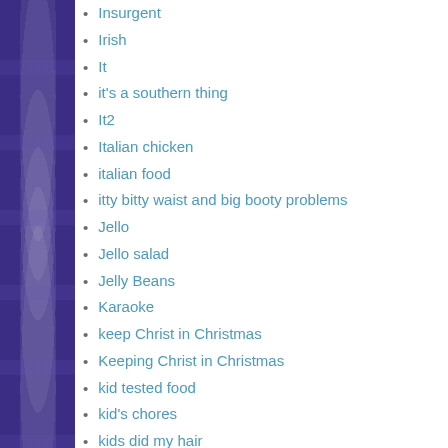Insurgent
Irish
It
it's a southern thing
It2
Italian chicken
italian food
itty bitty waist and big booty problems
Jello
Jello salad
Jelly Beans
Karaoke
keep Christ in Christmas
Keeping Christ in Christmas
kid tested food
kid's chores
kids did my hair
kids fort
kids goals.